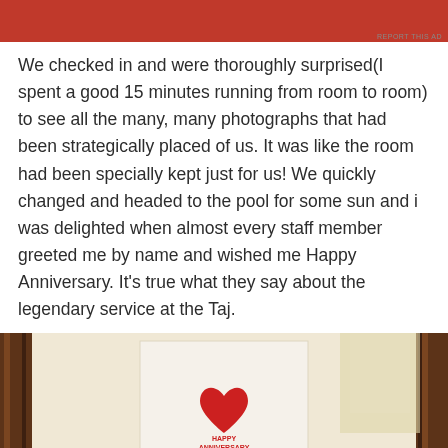[Figure (other): Red advertisement banner at top of page]
We checked in and were thoroughly surprised(I spent a good 15 minutes running from room to room) to see all the many, many photographs that had been strategically placed of us. It was like the room had been specially kept just for us! We quickly changed and headed to the pool for some sun and i was delighted when almost every staff member greeted me by name and wished me Happy Anniversary. It’s true what they say about the legendary service at the Taj.
[Figure (photo): Photograph of a hotel greeting card in a dark wooden frame with a red heart decoration and text reading 'HAPPY ANNIVERSARY', with warm background lighting]